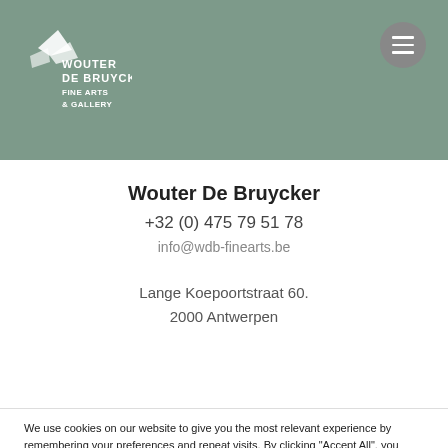Wouter De Bruycker Fine Arts & Gallery — navigation header with logo and menu button
Wouter De Bruycker
+32 (0) 475 79 51 78
info@wdb-finearts.be
Lange Koepoortstraat 60.
2000 Antwerpen
We use cookies on our website to give you the most relevant experience by remembering your preferences and repeat visits. By clicking "Accept All", you consent to the use of ALL the cookies. However, you may visit "Cookie Settings" to provide a controlled consent.